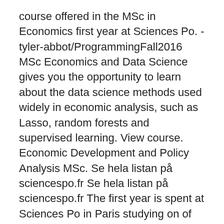course offered in the MSc in Economics first year at Sciences Po. - tyler-abbot/ProgrammingFall2016 MSc Economics and Data Science gives you the opportunity to learn about the data science methods used widely in economic analysis, such as Lasso, random forests and supervised learning. View course. Economic Development and Policy Analysis MSc. Se hela listan på sciencespo.fr Se hela listan på sciencespo.fr The first year is spent at Sciences Po in Paris studying on of the available programs at PSIA (Paris School of International Affairs). The second year is spent at SSE in Stockholm studying a MSc in Business & Management, Economics or Finance. The double degree arrangement will lead to two separate master's degrees, one from each institution.